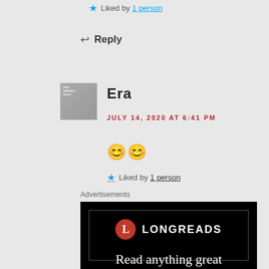★ Liked by 1 person
↩ Reply
Era
JULY 14, 2020 AT 6:41 PM
😊😊
★ Liked by 1 person
Advertisements
[Figure (logo): Longreads advertisement banner with red circle L logo and white text LONGREADS on black background, with tagline 'Read anything great']